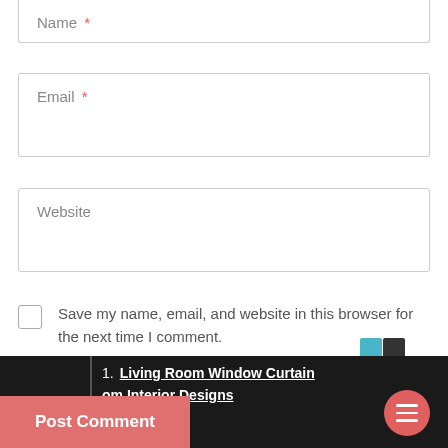Name *
Email *
Website
Save my name, email, and website in this browser for the next time I comment.
Notify me of follow-up comments by email.
1. Living Room Window Curtain
om Interior Designs
Search for
Post Comment